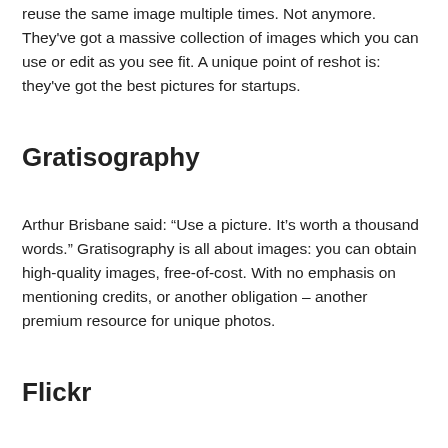reuse the same image multiple times. Not anymore. They've got a massive collection of images which you can use or edit as you see fit. A unique point of reshot is: they've got the best pictures for startups.
Gratisography
Arthur Brisbane said: “Use a picture. It’s worth a thousand words.” Gratisography is all about images: you can obtain high-quality images, free-of-cost. With no emphasis on mentioning credits, or another obligation – another premium resource for unique photos.
Flickr
Another perfect website to gain lots of high-quality images in less than a second. Flickr is a website known to all. They